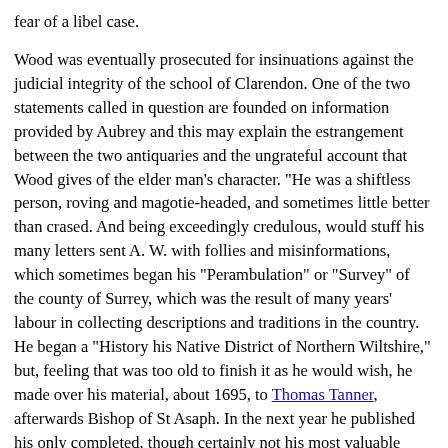fear of a libel case.
Wood was eventually prosecuted for insinuations against the judicial integrity of the school of Clarendon. One of the two statements called in question are founded on information provided by Aubrey and this may explain the estrangement between the two antiquaries and the ungrateful account that Wood gives of the elder man's character. "He was a shiftless person, roving and magotie-headed, and sometimes little better than crased. And being exceedingly credulous, would stuff his many letters sent A. W. with follies and misinformations, which sometimes began his "Perambulation" or "Survey" of the county of Surrey, which was the result of many years' labour in collecting descriptions and traditions in the country. He began a "History his Native District of Northern Wiltshire," but, feeling that was too old to finish it as he would wish, he made over his material, about 1695, to Thomas Tanner, afterwards Bishop of St Asaph. In the next year he published his only completed, though certainly not his most valuable work, the Miscellanies. Aubrey died in June 1697, and was buried in the church of St Mary Magdalene.
Beside the works already mentioned, his papers included: "Architectonica Sacra," notes on ecclesiastical antiquities; and "Life of Thomas Hobbes of Malmesbury," which served as the basis Dr Blackburn's Latin life, and also of Wood's account. His survey of Surrey was incorporated in R Rawlinson's Natural History and